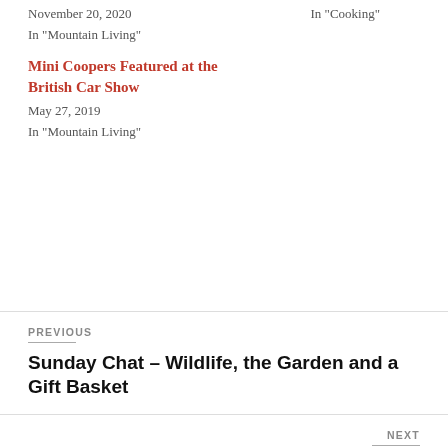November 20, 2020
In "Mountain Living"
In "Cooking"
Mini Coopers Featured at the British Car Show
May 27, 2019
In "Mountain Living"
PREVIOUS
Sunday Chat – Wildlife, the Garden and a Gift Basket
NEXT
Quilting and Blogging